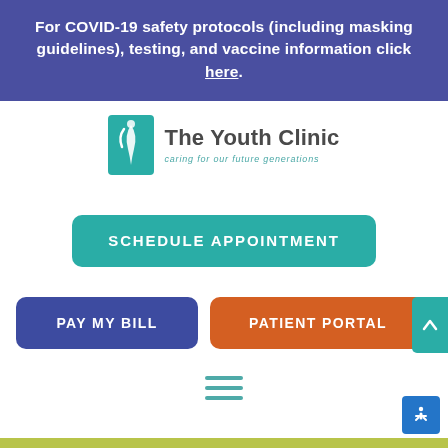For COVID-19 safety protocols (including masking guidelines), testing, and vaccine information click here.
[Figure (logo): The Youth Clinic logo with teal background icon and text 'The Youth Clinic - caring for our future generations']
SCHEDULE APPOINTMENT
PAY MY BILL
PATIENT PORTAL
[Figure (other): Hamburger menu icon with three teal horizontal lines]